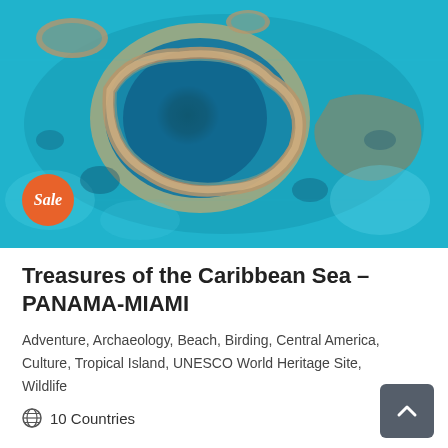[Figure (photo): Aerial view of the Great Blue Hole, Belize — a large circular dark blue underwater sinkhole surrounded by a coral reef atoll in shallow turquoise Caribbean waters. A 'Sale' badge in orange is overlaid on the lower-left of the image.]
Treasures of the Caribbean Sea – PANAMA-MIAMI
Adventure, Archaeology, Beach, Birding, Central America, Culture, Tropical Island, UNESCO World Heritage Site, Wildlife
10 Countries